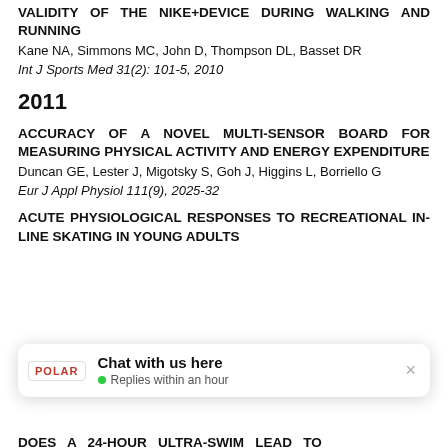VALIDITY OF THE NIKE+DEVICE DURING WALKING AND RUNNING
Kane NA, Simmons MC, John D, Thompson DL, Basset DR
Int J Sports Med 31(2): 101-5, 2010
2011
ACCURACY OF A NOVEL MULTI-SENSOR BOARD FOR MEASURING PHYSICAL ACTIVITY AND ENERGY EXPENDITURE
Duncan GE, Lester J, Migotsky S, Goh J, Higgins L, Borriello G
Eur J Appl Physiol 111(9), 2025-32
ACUTE PHYSIOLOGICAL RESPONSES TO RECREATIONAL IN-LINE SKATING IN YOUNG ADULTS
DOES A 24-HOUR ULTRA-SWIM LEAD TO